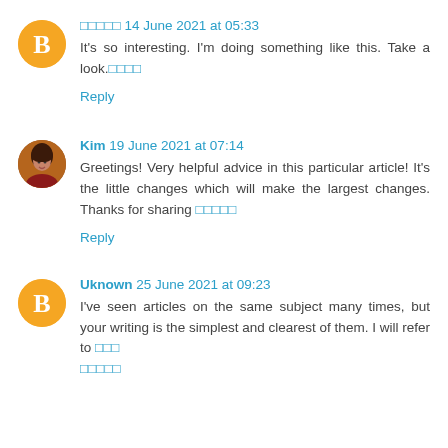🔲🔲🔲🔲🔲 14 June 2021 at 05:33
It's so interesting. I'm doing something like this. Take a look.🔲🔲🔲🔲
Reply
Kim 19 June 2021 at 07:14
Greetings! Very helpful advice in this particular article! It's the little changes which will make the largest changes. Thanks for sharing 🔲🔲🔲🔲🔲
Reply
Uknown 25 June 2021 at 09:23
I've seen articles on the same subject many times, but your writing is the simplest and clearest of them. I will refer to 🔲🔲🔲 🔲🔲🔲🔲🔲